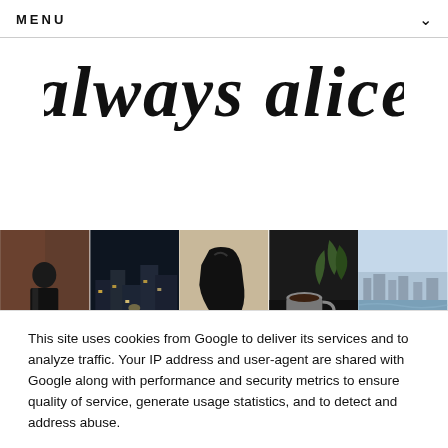MENU
always alice
[Figure (photo): A strip of five lifestyle/travel photos: person in dark coat against brick wall; illuminated European town at night; black high-heel boot close-up; coffee cup with plant on dark table; person standing on rocks by a river with city skyline.]
Come Dine With Me...Part One
This site uses cookies from Google to deliver its services and to analyze traffic. Your IP address and user-agent are shared with Google along with performance and security metrics to ensure quality of service, generate usage statistics, and to detect and address abuse.
LEARN MORE    OK